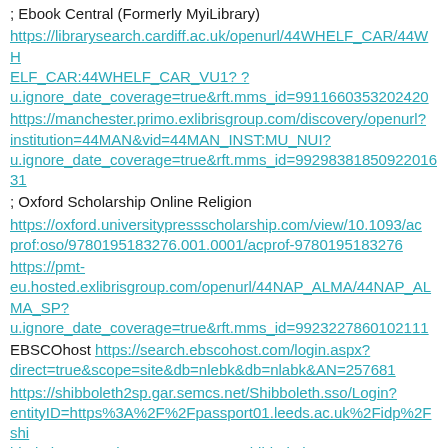; Ebook Central (Formerly MyiLibrary)
https://librarysearch.cardiff.ac.uk/openurl/44WHELF_CAR/44WHELF_CAR:44WHELF_CAR_VU1? ? u.ignore_date_coverage=true&rft.mms_id=9911660353202420
https://manchester.primo.exlibrisgroup.com/discovery/openurl?institution=44MAN&vid=44MAN_INST:MU_NUI? u.ignore_date_coverage=true&rft.mms_id=9929838185092201631
; Oxford Scholarship Online Religion
https://oxford.universitypressscholarship.com/view/10.1093/acprof:oso/9780195183276.001.0001/acprof-9780195183276
https://pmt-eu.hosted.exlibrisgroup.com/openurl/44NAP_ALMA/44NAP_ALMA_SP? u.ignore_date_coverage=true&rft.mms_id=9923227860102111
EBSCOhost https://search.ebscohost.com/login.aspx?direct=true&scope=site&db=nlebk&db=nlabk&AN=257681
https://shibboleth2sp.gar.semcs.net/Shibboleth.sso/Login?entityID=https%3A%2F%2Fpassport01.leeds.ac.uk%2Fidp%2Fshibboleth&target=https%3A%2F%2Fshibboleth2sp.gar.semcs.net%2Fshib%3Fdest%3Dhttp%253A%252F%252Fwww.vlebooks.com%252FSHIBBOLETH%253Fdest%253Dhttp%25253A%25252F%25252Fwww.vlebooks.com%25252Fvleweb%25252Fproduct%25252Fopenreader%25253Fid%25253DLeedsUni%252526isbn%25253D9780199720293 ; View this book online, via VLeBooks, both on- and off-campus